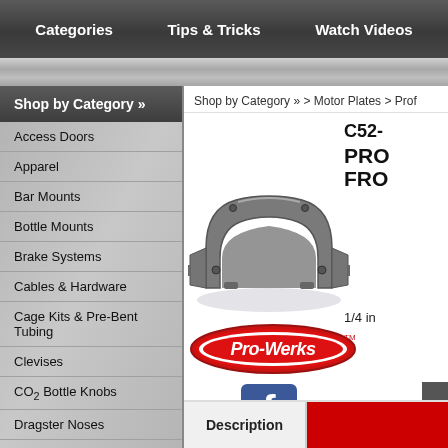Categories | Tips & Tricks | Watch Videos
Shop by Category »
Access Doors
Apparel
Bar Mounts
Bottle Mounts
Brake Systems
Cables & Hardware
Cage Kits & Pre-Bent Tubing
Clevises
CO₂ Bottle Knobs
Dragster Noses
Driveline
Dzus Buttons & Panel
Shop by Category » > Motor Plates > Prof
C52-
PRO
FRO
[Figure (photo): Gray metal motor plate bracket with mounting holes, curved arch shape]
1/4 in
[Figure (logo): Pro-Werks brand logo oval red and white with script text]
[Figure (other): Facebook social media icon, blue square with white F]
Description